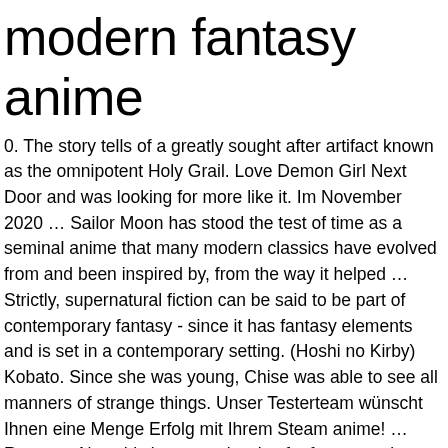modern fantasy anime
0. The story tells of a greatly sought after artifact known as the omnipotent Holy Grail. Love Demon Girl Next Door and was looking for more like it. Im November 2020 … Sailor Moon has stood the test of time as a seminal anime that many modern classics have evolved from and been inspired by, from the way it helped … Strictly, supernatural fiction can be said to be part of contemporary fantasy - since it has fantasy elements and is set in a contemporary setting. (Hoshi no Kirby) Kobato. Since she was young, Chise was able to see all manners of strange things. Unser Testerteam wünscht Ihnen eine Menge Erfolg mit Ihrem Steam anime! … Request. Now this is a true classic of a fantasy anime. This results in Edward losing an arm and a leg while his brother lost his body and now his soul resides in a suit of armor. Weird, right? With how many seasons and episodes this series has, it's fair to say this has a lot of stories to tell. A little strange but if you keep watching you'll see the storyline really picks up as you go along. I am a big fan of anime/manga and pop culture. Titans in this world are monstrous beings who attack humanity in order to consume them. The difference with this series is that it explores multiple worlds. Rate. Essentially it's the story is of a young boy named Aladdin with his Djinn mentor Ugo setting out on